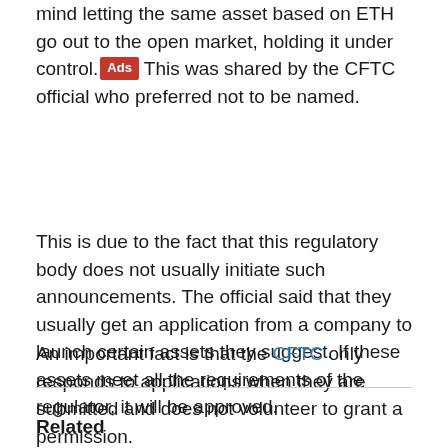mind letting the same asset based on ETH go out to the open market, holding it under control. [Ads] This was shared by the CFTC official who preferred not to be named.
This is due to the fact that this regulatory body does not usually initiate such announcements. The official said that they usually get an application from a company to launch certain assets they suggest. If these assets meet all the requirements of the regulator, it will be approved.
An important fact is that the CFTC only responds to applications when they are submitted and does not volunteer to grant a permission.
Related